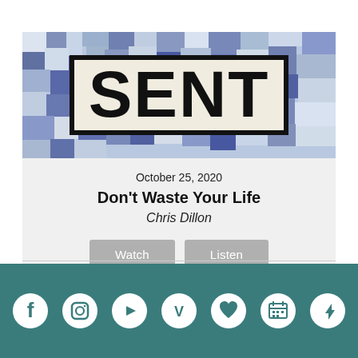[Figure (illustration): Mosaic map artwork background with 'SENT' text in a bordered box, blue and cream colored abstract geographic pattern]
October 25, 2020
Don't Waste Your Life
Chris Dillon
[Figure (infographic): Two buttons: Watch and Listen]
[Figure (infographic): Footer with social media icons: Facebook, Instagram, YouTube, Vimeo, heart/like, calendar, plugin/connect icon on teal background]